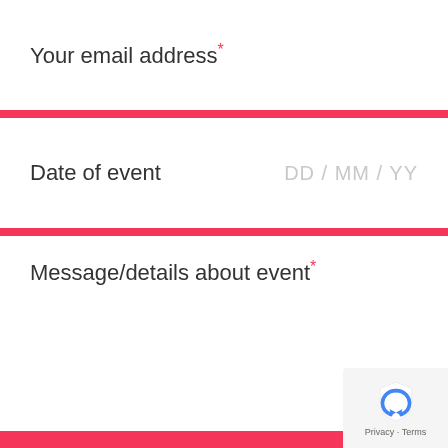Your email address*
Date of event  DD / MM / YY
Message/details about event*
Submit
*Required fields
[Figure (logo): Google reCAPTCHA badge with recycling arrow logo and Privacy · Terms links]